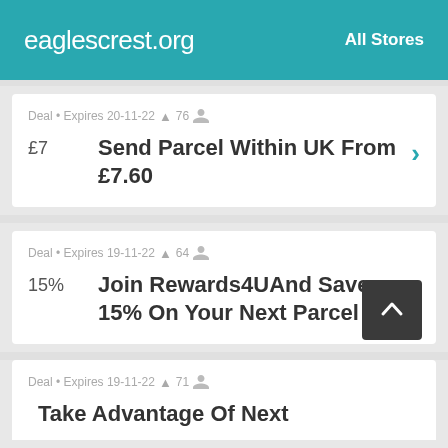eaglescrest.org  All Stores
Deal • Expires 20-11-22 🔔 76 👤
£7  Send Parcel Within UK From £7.60
Deal • Expires 19-11-22 🔔 64 👤
15%  Join Rewards4UAnd Save 15% On Your Next Parcel
Deal • Expires 19-11-22 🔔 71 👤
Take Advantage Of Next